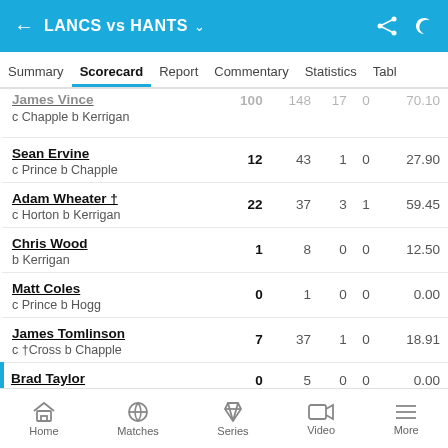LANCS vs HANTS
Summary | Scorecard | Report | Commentary | Statistics | Table
| Player | R | B | 4s | 6s | SR |
| --- | --- | --- | --- | --- | --- |
| James Vince (c Chapple b Kerrigan) | 100 | 148 | 17 | 0 | 70.10 |
| Sean Ervine (c Prince b Chapple) | 12 | 43 | 1 | 0 | 27.90 |
| Adam Wheater † (c Horton b Kerrigan) | 22 | 37 | 3 | 1 | 59.45 |
| Chris Wood (b Kerrigan) | 1 | 8 | 0 | 0 | 12.50 |
| Matt Coles (c Prince b Hogg) | 0 | 1 | 0 | 0 | 0.00 |
| James Tomlinson (c †Cross b Chapple) | 7 | 37 | 1 | 0 | 18.91 |
| Brad Taylor | 0 | 5 | 0 | 0 | 0.00 |
Home | Matches | Series | Video | More